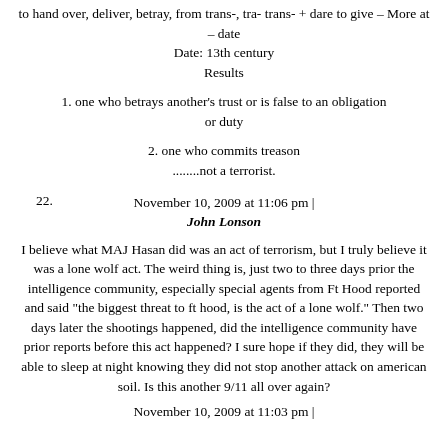to hand over, deliver, betray, from trans-, tra- trans- + dare to give – More at – date
Date: 13th century
Results
1. one who betrays another's trust or is false to an obligation or duty
2. one who commits treason
........not a terrorist.
November 10, 2009 at 11:06 pm | John Lonson
22.
I believe what MAJ Hasan did was an act of terrorism, but I truly believe it was a lone wolf act. The weird thing is, just two to three days prior the intelligence community, especially special agents from Ft Hood reported and said "the biggest threat to ft hood, is the act of a lone wolf." Then two days later the shootings happened, did the intelligence community have prior reports before this act happened? I sure hope if they did, they will be able to sleep at night knowing they did not stop another attack on american soil. Is this another 9/11 all over again?
November 10, 2009 at 11:03 pm |